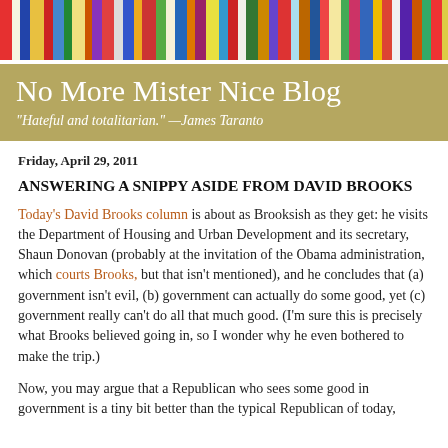[Figure (photo): Colorful book spines arranged horizontally, serving as a decorative header image for the blog]
No More Mister Nice Blog
"Hateful and totalitarian." —James Taranto
Friday, April 29, 2011
ANSWERING A SNIPPY ASIDE FROM DAVID BROOKS
Today's David Brooks column is about as Brooksish as they get: he visits the Department of Housing and Urban Development and its secretary, Shaun Donovan (probably at the invitation of the Obama administration, which courts Brooks, but that isn't mentioned), and he concludes that (a) government isn't evil, (b) government can actually do some good, yet (c) government really can't do all that much good. (I'm sure this is precisely what Brooks believed going in, so I wonder why he even bothered to make the trip.)
Now, you may argue that a Republican who sees some good in government is a tiny bit better than the typical Republican of today,